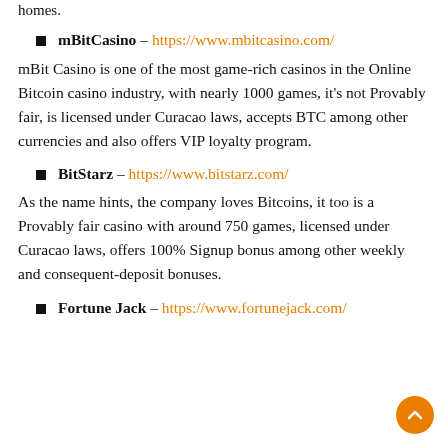homes.
mBitCasino – https://www.mbitcasino.com/
mBit Casino is one of the most game-rich casinos in the Online Bitcoin casino industry, with nearly 1000 games, it's not Provably fair, is licensed under Curacao laws, accepts BTC among other currencies and also offers VIP loyalty program.
BitStarz – https://www.bitstarz.com/
As the name hints, the company loves Bitcoins, it too is a Provably fair casino with around 750 games, licensed under Curacao laws, offers 100% Signup bonus among other weekly and consequent-deposit bonuses.
Fortune Jack – https://www.fortunejack.com/